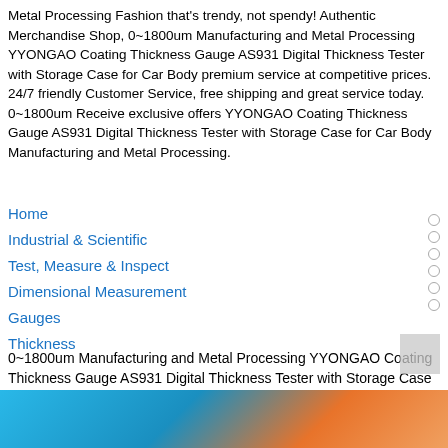Metal Processing Fashion that's trendy, not spendy! Authentic Merchandise Shop, 0~1800um Manufacturing and Metal Processing YYONGAO Coating Thickness Gauge AS931 Digital Thickness Tester with Storage Case for Car Body premium service at competitive prices. 24/7 friendly Customer Service, free shipping and great service today. 0~1800um Receive exclusive offers YYONGAO Coating Thickness Gauge AS931 Digital Thickness Tester with Storage Case for Car Body Manufacturing and Metal Processing.
Home
Industrial & Scientific
Test, Measure & Inspect
Dimensional Measurement
Gauges
Thickness
0~1800um Manufacturing and Metal Processing YYONGAO Coating Thickness Gauge AS931 Digital Thickness Tester with Storage Case for Car Body
[Figure (photo): Bottom strip showing a product image with blue background and orange/colorful hand area]